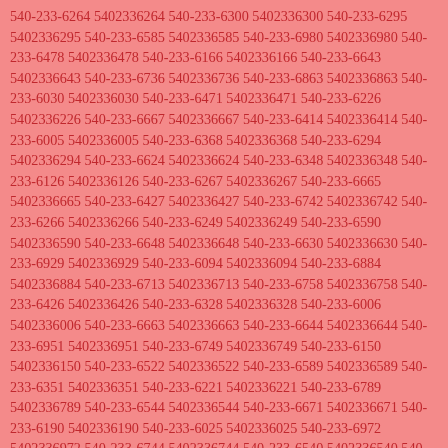540-233-6264 5402336264 540-233-6300 5402336300 540-233-6295 5402336295 540-233-6585 5402336585 540-233-6980 5402336980 540-233-6478 5402336478 540-233-6166 5402336166 540-233-6643 5402336643 540-233-6736 5402336736 540-233-6863 5402336863 540-233-6030 5402336030 540-233-6471 5402336471 540-233-6226 5402336226 540-233-6667 5402336667 540-233-6414 5402336414 540-233-6005 5402336005 540-233-6368 5402336368 540-233-6294 5402336294 540-233-6624 5402336624 540-233-6348 5402336348 540-233-6126 5402336126 540-233-6267 5402336267 540-233-6665 5402336665 540-233-6427 5402336427 540-233-6742 5402336742 540-233-6266 5402336266 540-233-6249 5402336249 540-233-6590 5402336590 540-233-6648 5402336648 540-233-6630 5402336630 540-233-6929 5402336929 540-233-6094 5402336094 540-233-6884 5402336884 540-233-6713 5402336713 540-233-6758 5402336758 540-233-6426 5402336426 540-233-6328 5402336328 540-233-6006 5402336006 540-233-6663 5402336663 540-233-6644 5402336644 540-233-6951 5402336951 540-233-6749 5402336749 540-233-6150 5402336150 540-233-6522 5402336522 540-233-6589 5402336589 540-233-6351 5402336351 540-233-6221 5402336221 540-233-6789 5402336789 540-233-6544 5402336544 540-233-6671 5402336671 540-233-6190 5402336190 540-233-6025 5402336025 540-233-6972 5402336972 540-233-6744 5402336744 540-233-6540 5402336540 540-233-6521 5402336521 540-233-6245 5402336245 540-233-6482 5402336482 540-233-6594 5402336594 540-233-6403 5402336403 540-233-6506 5402336506 540-233-6061 5402336061 540-233-6968 5402336968